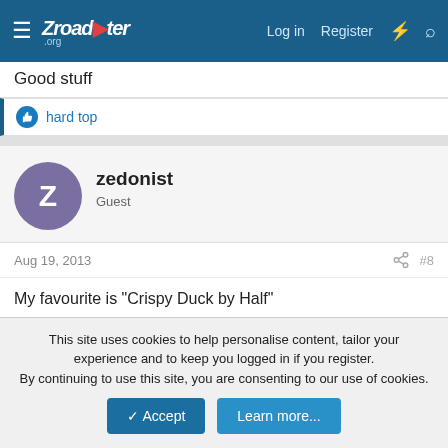Zroadster.org — Log in  Register
Good stuff
👍 hard top
zedonist
Guest
Aug 19, 2013  #8
My favourite is "Crispy Duck by Half"
👍 hard top and badman gee
badman gee
This site uses cookies to help personalise content, tailor your experience and to keep you logged in if you register.
By continuing to use this site, you are consenting to our use of cookies.
✔ Accept   Learn more...